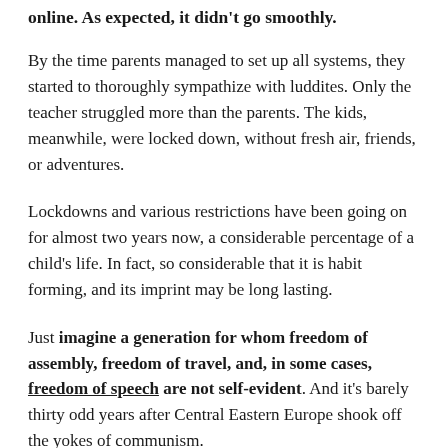online. As expected, it didn't go smoothly.
By the time parents managed to set up all systems, they started to thoroughly sympathize with luddites. Only the teacher struggled more than the parents. The kids, meanwhile, were locked down, without fresh air, friends, or adventures.
Lockdowns and various restrictions have been going on for almost two years now, a considerable percentage of a child's life. In fact, so considerable that it is habit forming, and its imprint may be long lasting.
Just imagine a generation for whom freedom of assembly, freedom of travel, and, in some cases, freedom of speech are not self-evident. And it's barely thirty odd years after Central Eastern Europe shook off the yokes of communism.
I do not doubt that, given the early data, lockdowns and restrictions seemed like a good solution, and that they contributed to slowing down the infection rate. Looking back